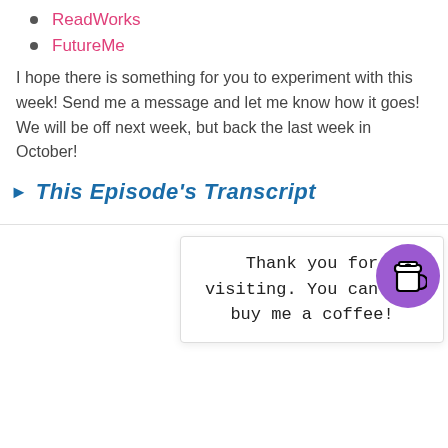ReadWorks
FutureMe
I hope there is something for you to experiment with this week! Send me a message and let me know how it goes! We will be off next week, but back the last week in October!
This Episode's Transcript
Thank you for visiting. You can now buy me a coffee!
We use c… nost relevant experience by remembering your preferences and repeat visits. By clicking "Accept", you consent to the use of ALL the cookies.
Do not sell my personal information.
Cookie Settings   Accept